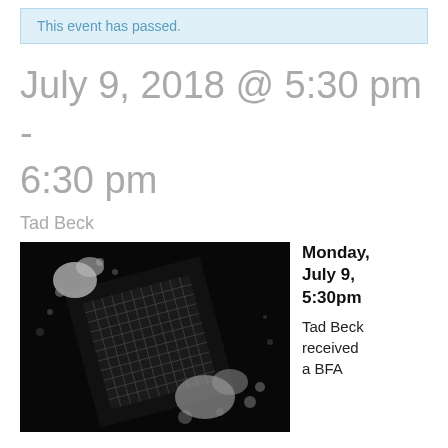This event has passed.
July 9, 2018 @ 5:30 pm - 6:30 pm
Tad Beck
[Figure (photo): Black and white photograph of a grid panel submerged in water with bubbles and light reflections around it.]
Monday, July 9, 5:30pm Tad Beck received a BFA